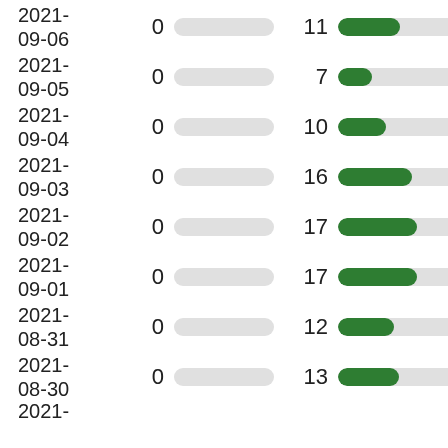[Figure (bar-chart): Daily counts with progress bars]